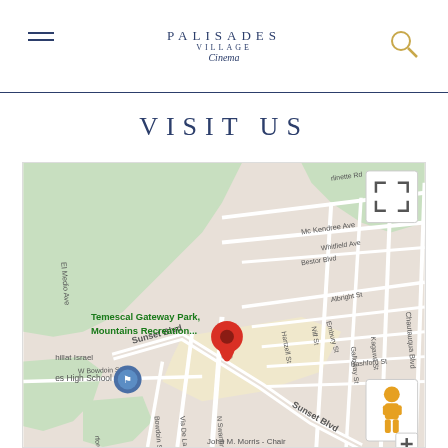PALISADES VILLAGE Cinema
VISIT US
[Figure (map): Google Maps view showing Palisades Village location on Sunset Blvd in Pacific Palisades, CA. Map shows streets including Sunset Blvd, McKendree Ave, Whitfield Ave, Bestor Blvd, Albright St, Embury St, Galloway St, Bashford St, Kagawa St, Chautauqua Blvd, Hartzell St, Bowdoin St, W Bowdoin St, Via De La Paz, N Swarthmore Ave. Shows Temescal Gateway Park Mountains Recreation area. Red location pin marks Palisades Village. Street view pegman icon visible. Fullscreen expand button visible.]